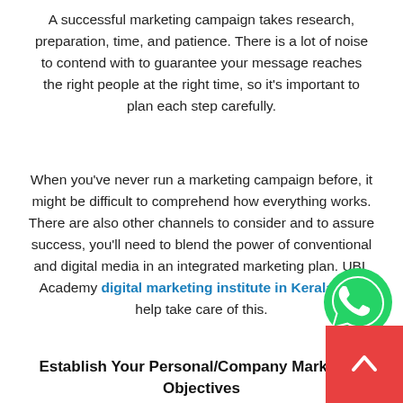A successful marketing campaign takes research, preparation, time, and patience. There is a lot of noise to contend with to guarantee your message reaches the right people at the right time, so it's important to plan each step carefully.
When you've never run a marketing campaign before, it might be difficult to comprehend how everything works. There are also other channels to consider and to assure success, you'll need to blend the power of conventional and digital media in an integrated marketing plan. UBL Academy digital marketing institute in Kerala can help take care of this.
[Figure (logo): WhatsApp icon - green circle with white phone handset]
Establish Your Personal/Company Marketing Objectives
[Figure (other): Red scroll-to-top button with white upward chevron arrow]